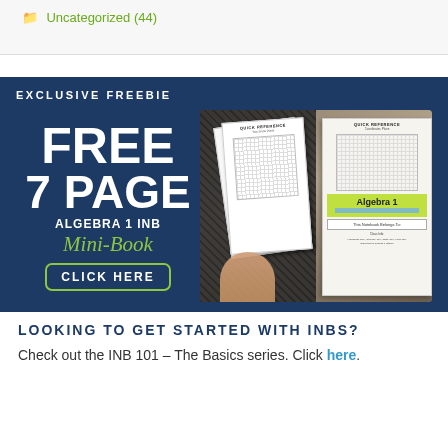Uncategorized (44)
EXCLUSIVE FREEBIE
[Figure (infographic): Advertisement banner for a free 7 page Algebra 1 INB Mini-Book with a photo of interactive notebooks with Quick Reference sheets]
LOOKING TO GET STARTED WITH INBS?
Check out the INB 101 – The Basics series. Click here.